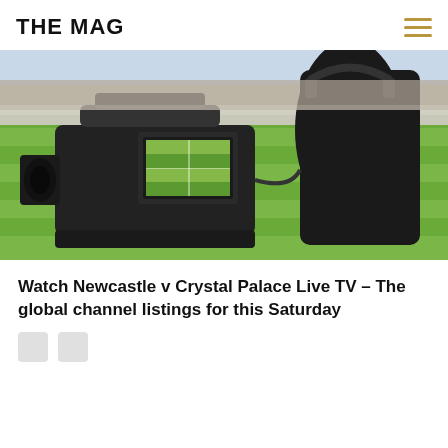THE MAG
[Figure (photo): A TV camera operator with headphones filming a football/soccer pitch from the sideline, seen from behind. The camera monitor shows a wide shot of a green football stadium pitch.]
Watch Newcastle v Crystal Palace Live TV – The global channel listings for this Saturday